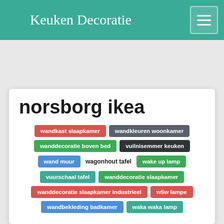Keuken Decoratie
norsborg ikea
wandkast slaapkamer
wandkleuren woonkamer
wanddecoratie boven bed
vuilnisemmer keuken
wand muur
wagonhout tafel
wake up lamp
vuurschaal tafel
wanddecoratie slaapkamer
wanddecoratie slaapkamer industrieel
w5w lampe
wandbekleding badkamer
waka waka lamp